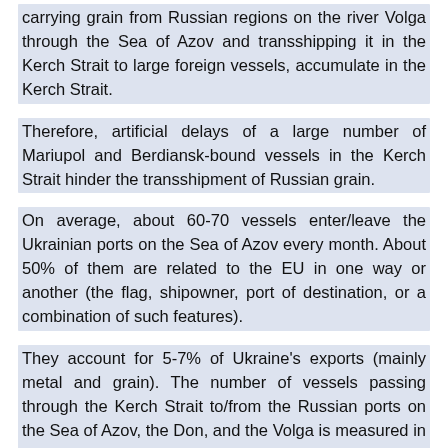carrying grain from Russian regions on the river Volga through the Sea of Azov and transshipping it in the Kerch Strait to large foreign vessels, accumulate in the Kerch Strait.
Therefore, artificial delays of a large number of Mariupol and Berdiansk-bound vessels in the Kerch Strait hinder the transshipment of Russian grain.
On average, about 60-70 vessels enter/leave the Ukrainian ports on the Sea of Azov every month. About 50% of them are related to the EU in one way or another (the flag, shipowner, port of destination, or a combination of such features).
They account for 5-7% of Ukraine's exports (mainly metal and grain). The number of vessels passing through the Kerch Strait to/from the Russian ports on the Sea of Azov, the Don, and the Volga is measured in hundreds per month. This river-sea route is used by the Russian Federation for